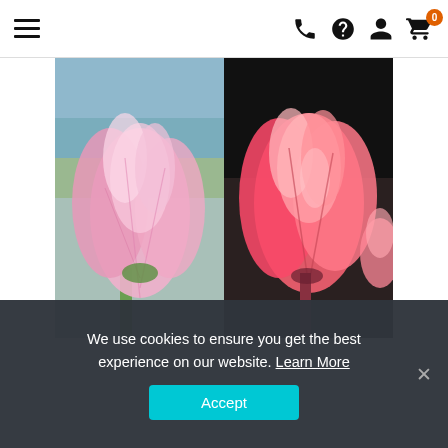Navigation header with hamburger menu, phone, help, user, and cart icons
[Figure (photo): Two side-by-side close-up photos of pink/coral tulip flowers. Left: light pink tulip against a soft blurred outdoor background. Right: deeper pink/coral tulip against a dark background.]
We use cookies to ensure you get the best experience on our website. Learn More
Accept